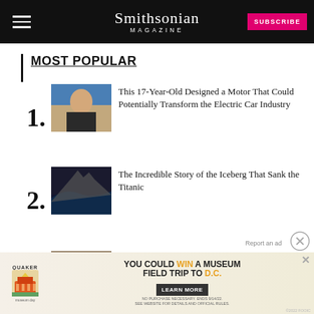Smithsonian Magazine
MOST POPULAR
1. This 17-Year-Old Designed a Motor That Could Potentially Transform the Electric Car Industry
2. The Incredible Story of the Iceberg That Sank the Titanic
3. Did Archaeologists Find Saint Peter's Birthplace?
4. Why Were Medieval Monks So Susceptible to Intestinal Worms?
[Figure (infographic): Advertisement: Quaker - You Could Win a Museum Field Trip to D.C. Learn More]